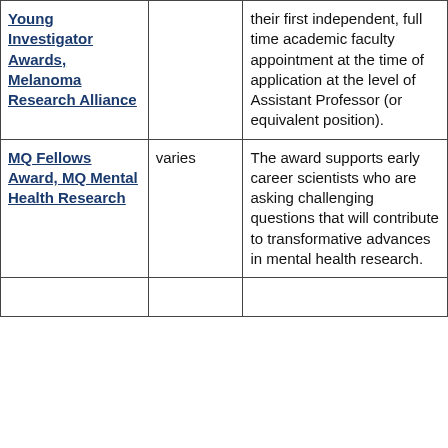| Young Investigator Awards, Melanoma Research Alliance |  | their first independent, full time academic faculty appointment at the time of application at the level of Assistant Professor (or equivalent position). |
| MQ Fellows Award, MQ Mental Health Research | varies | The award supports early career scientists who are asking challenging questions that will contribute to transformative advances in mental health research. |
|  |  |  |